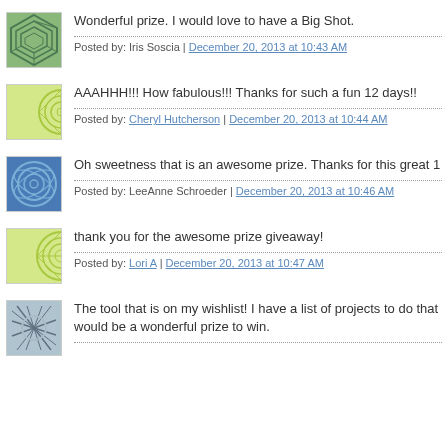Wonderful prize. I would love to have a Big Shot. Posted by: Iris Soscia | December 20, 2013 at 10:43 AM
AAAHHH!!! How fabulous!!! Thanks for such a fun 12 days!! Posted by: Cheryl Hutcherson | December 20, 2013 at 10:44 AM
Oh sweetness that is an awesome prize. Thanks for this great 1... Posted by: LeeAnne Schroeder | December 20, 2013 at 10:46 AM
thank you for the awesome prize giveaway! Posted by: Lori A | December 20, 2013 at 10:47 AM
The tool that is on my wishlist! I have a list of projects to do that would be a wonderful prize to win.